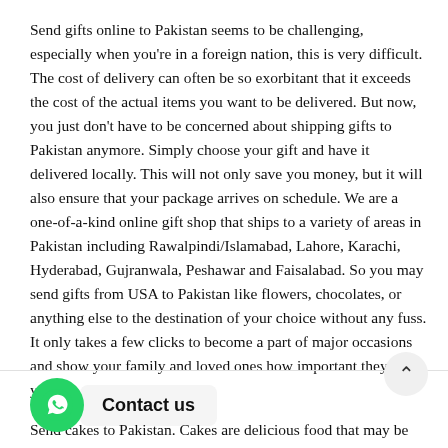Send gifts online to Pakistan seems to be challenging, especially when you're in a foreign nation, this is very difficult. The cost of delivery can often be so exorbitant that it exceeds the cost of the actual items you want to be delivered. But now, you just don't have to be concerned about shipping gifts to Pakistan anymore. Simply choose your gift and have it delivered locally. This will not only save you money, but it will also ensure that your package arrives on schedule. We are a one-of-a-kind online gift shop that ships to a variety of areas in Pakistan including Rawalpindi/Islamabad, Lahore, Karachi, Hyderabad, Gujranwala, Peshawar and Faisalabad. So you may send gifts from USA to Pakistan like flowers, chocolates, or anything else to the destination of your choice without any fuss. It only takes a few clicks to become a part of major occasions and show your family and loved ones how important they are to you.
[Figure (other): WhatsApp contact button with green circle icon and 'Contact us' label in a rounded bubble]
Send cakes to Pakistan. Cakes are delicious food that may be